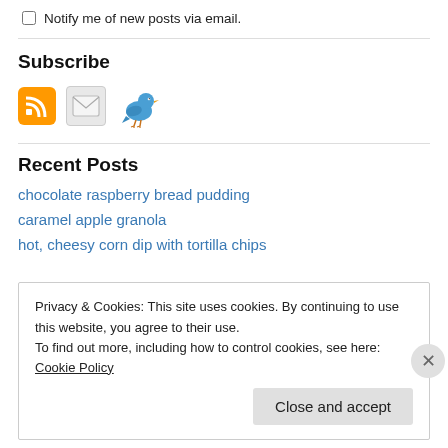Notify me of new posts via email.
Subscribe
[Figure (illustration): RSS feed icon (orange square with RSS symbol), email/envelope icon (gray), and Twitter bird icon (blue bird)]
Recent Posts
chocolate raspberry bread pudding
caramel apple granola
hot, cheesy corn dip with tortilla chips
Privacy & Cookies: This site uses cookies. By continuing to use this website, you agree to their use.
To find out more, including how to control cookies, see here: Cookie Policy
Close and accept